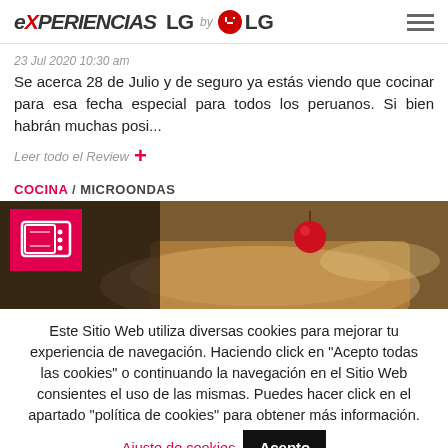EXPERIENCIAS LG by LG
23 Jul 2020 10:30 am
Se acerca 28 de Julio y de seguro ya estás viendo que cocinar para esa fecha especial para todos los peruanos. Si bien habrán muchas posi...
Leer todo el Review +
COCINA / MICROONDAS
[Figure (photo): Photo of a dessert with a cherry on top, with a microwave icon overlay in the top left corner]
Este Sitio Web utiliza diversas cookies para mejorar tu experiencia de navegación. Haciendo click en "Acepto todas las cookies" o continuando la navegación en el Sitio Web consientes el uso de las mismas. Puedes hacer click en el apartado "política de cookies" para obtener más información.   Ajuste de cookies   Acepto
Privacy & Cookies Policy